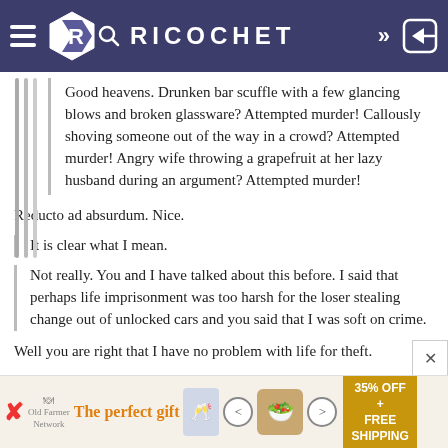RICOCHET
Good heavens. Drunken bar scuffle with a few glancing blows and broken glassware? Attempted murder! Callously shoving someone out of the way in a crowd? Attempted murder! Angry wife throwing a grapefruit at her lazy husband during an argument? Attempted murder!
Reducto ad absurdum. Nice.
It is clear what I mean.
Not really. You and I have talked about this before. I said that perhaps life imprisonment was too harsh for the loser stealing change out of unlocked cars and you said that I was soft on crime.
Well you are right that I have no problem with life for theft.
It is pretty simple: Don’t go into someone’s car and